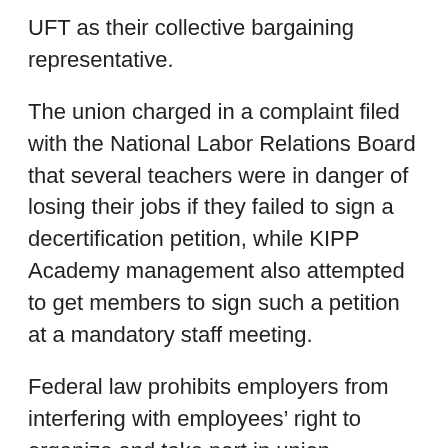UFT as their collective bargaining representative.
The union charged in a complaint filed with the National Labor Relations Board that several teachers were in danger of losing their jobs if they failed to sign a decertification petition, while KIPP Academy management also attempted to get members to sign such a petition at a mandatory staff meeting.
Federal law prohibits employers from interfering with employees’ right to organize and take part in union activities, including discouraging membership in any labor organization.